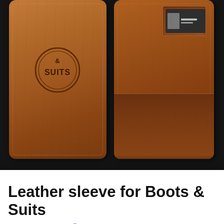[Figure (photo): Two brown leather wallets/sleeves side by side on a dark background. The left wallet shows the front with a circular embossed 'Boots & Suits' logo. The right wallet shows the back with a card pocket at the top containing a business card.]
Leather sleeve for Boots & Suits
☆☆☆☆☆ ℹ Rate This
Boots and Suits
On www.bootsandsuits.nl Bas shares his take on lifestyle, fashion and since about 4ft...